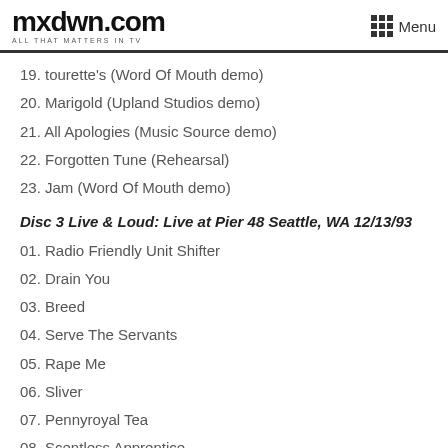mxdwn.com — ALL THAT MATTERS IN TV | Menu
19. tourette's (Word Of Mouth demo)
20. Marigold (Upland Studios demo)
21. All Apologies (Music Source demo)
22. Forgotten Tune (Rehearsal)
23. Jam (Word Of Mouth demo)
Disc 3 Live & Loud: Live at Pier 48 Seattle, WA 12/13/93
01. Radio Friendly Unit Shifter
02. Drain You
03. Breed
04. Serve The Servants
05. Rape Me
06. Sliver
07. Pennyroyal Tea
08. Scentless Apprentice
09. All Apologies
10. Heart-Shaped Box